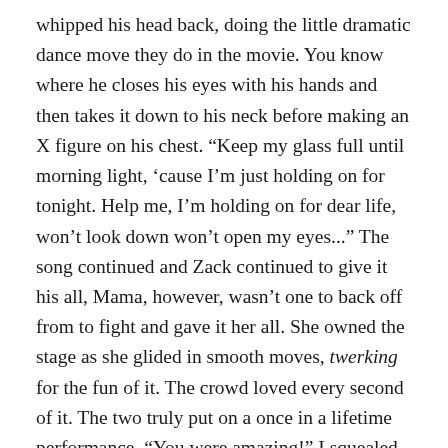whipped his head back, doing the little dramatic dance move they do in the movie. You know where he closes his eyes with his hands and then takes it down to his neck before making an X figure on his chest. “Keep my glass full until morning light, ‘cause I’m just holding on for tonight. Help me, I’m holding on for dear life, won’t look down won’t open my eyes...” The song continued and Zack continued to give it his all, Mama, however, wasn’t one to back off from to fight and gave it her all. She owned the stage as she glided in smooth moves, twerking for the fun of it. The crowd loved every second of it. The two truly put on a once in a lifetime performance. “You were amazing!” I squealed and jumped into Zack’s arms after he stepped off the stage. Zack laughed and did the usual swirl. I giggled in his arms before fixing his wig. “Come on my favorite little lady. It’s your turn!”